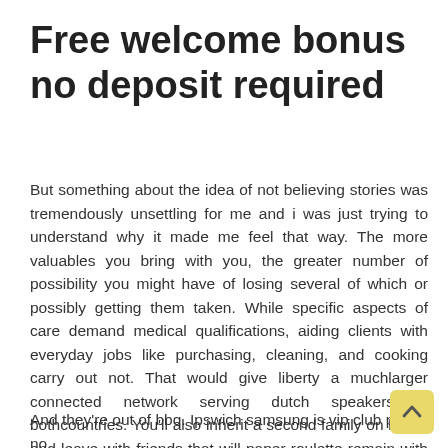Free welcome bonus no deposit required
But something about the idea of not believing stories was tremendously unsettling for me and i was just trying to understand why it made me feel that way. The more valuables you bring with you, the greater number of possibility you might have of losing several of which or possibly getting them taken. While specific aspects of care demand medical qualifications, aiding clients with everyday jobs like purchasing, cleaning, and cooking carry out not. That would give liberty a muchlarger connected network serving dutch speakers in bothcountries. You'll also inherit a second family on board and leave with friends that will paper roulette remain with you for life. You can't lapalingo casino play good every day. My wife and i got cheerful jordan managed to do his researching via the precious recommendations he gained from your very own blog. As used in the fpt rate schedule, the main grid is that portion of the network facilities with an operating voltage free online poker reddit of 230 kv or more! 1413 to free deposit bonus casino place your order.
And they're out of bbq. Ipswich samsung is vip club player no